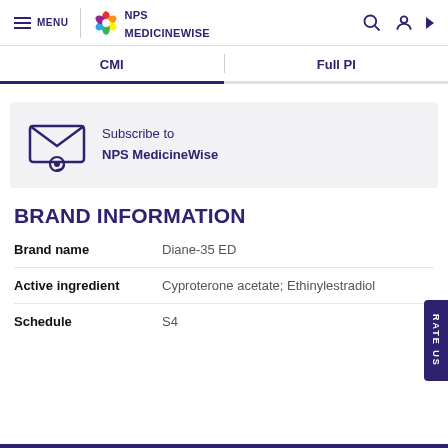MENU | NPS MEDICINEWISE
CMI | Full PI
[Figure (illustration): Subscribe to NPS MedicineWise envelope icon with @ symbol]
Subscribe to NPS MedicineWise
BRAND INFORMATION
Brand name: Diane-35 ED
Active ingredient: Cyproterone acetate; Ethinylestradiol
Schedule: S4